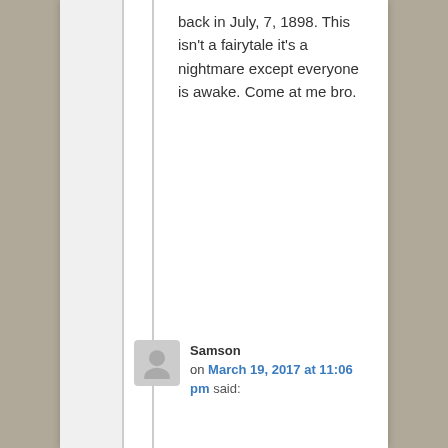back in July, 7, 1898. This isn't a fairytale it's a nightmare except everyone is awake. Come at me bro.
Samson on March 19, 2017 at 11:06 pm said:
You have to understand that under international law, which is higher than American law and for good reason, they admitted to illegally overthrowing the Queen. Then they